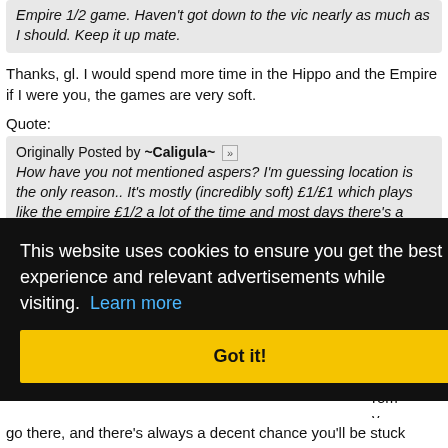Empire 1/2 game. Haven't got down to the vic nearly as much as I should. Keep it up mate.
Thanks, gl. I would spend more time in the Hippo and the Empire if I were you, the games are very soft.
Quote:
Originally Posted by ~Caligula~ [view post] How have you not mentioned aspers? I'm guessing location is the only reason.. It's mostly (incredibly soft) £1/£1 which plays like the empire £1/2 a lot of the time and most days there's a £1/2 game which seems to turn into £2/5 when the whales arrive in the evening. The room is well-run and
es n the
rom y
This website uses cookies to ensure you get the best experience and relevant advertisements while visiting. Learn more
Got it!
go there, and there's always a decent chance you'll be stuck